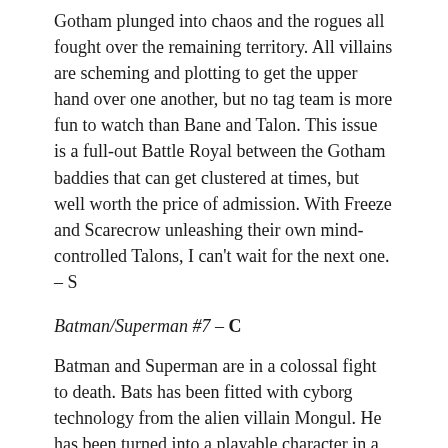Gotham plunged into chaos and the rogues all fought over the remaining territory. All villains are scheming and plotting to get the upper hand over one another, but no tag team is more fun to watch than Bane and Talon. This issue is a full-out Battle Royal between the Gotham baddies that can get clustered at times, but well worth the price of admission. With Freeze and Scarecrow unleashing their own mind-controlled Talons, I can't wait for the next one. – S
Batman/Superman #7 – C
Batman and Superman are in a colossal fight to death. Bats has been fitted with cyborg technology from the alien villain Mongul. He has been turned into a playable character in a global video game. Over 90 million gamers are in control of the Batman and are hell-bent on killing Superman. The overall story is a bit trite, but the artwork of Brett Booth is striking in every panel. This is one of the